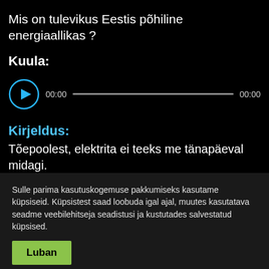Mis on tulevikus Eestis põhiline energiaallikas ?
Kuula:
[Figure (other): Audio player with play button (circle with triangle), time display 00:00, progress bar, and end time 00:00]
Kirjeldus:
Tõepoolest, elektrita ei teeks me tänapäeval midagi. Energeetikaga tegelemine ja spetsialistide väljaõpe
Sulle parima kasutuskogemuse pakkumiseks kasutame küpsiseid. Küpsistest saad loobuda igal ajal, muutes kasutatava seadme veebilehitseja seadistusi ja kustutades salvestatud küpsised.
Luban